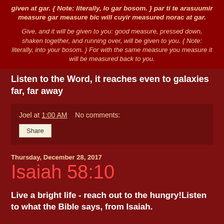given at gar. { Note: literally, lo gar bosom. } par ti te arasuumir measure gar measure bic will cuyir measured norac at gar.
Give, and it will be given to you: good measure, pressed down, shaken together, and running over, will be given to you. { Note: literally, into your bosom. } For with the same measure you measure it will be measured back to you.
Listen to the Word, it reaches even to galaxies far, far away
Joel at 1:00 AM    No comments:
Share
Thursday, December 28, 2017
Isaiah 58:10
Live a bright life - reach out to the hungry!Listen to what the Bible says, from Isaiah.